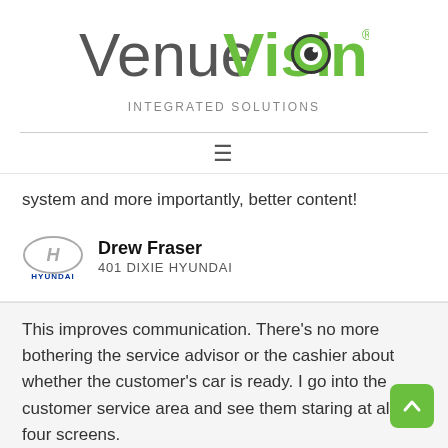[Figure (logo): VenueVision Integrated Solutions logo — 'Venue' in dark gray, 'Vision' in green with an eye icon replacing the letter O, and 'INTEGRATED SOLUTIONS' in gray below]
system and more importantly, better content!
Drew Fraser
401 DIXIE HYUNDAI
This improves communication. There's no more bothering the service advisor or the cashier about whether the customer's car is ready. I go into the customer service area and see them staring at all four screens.